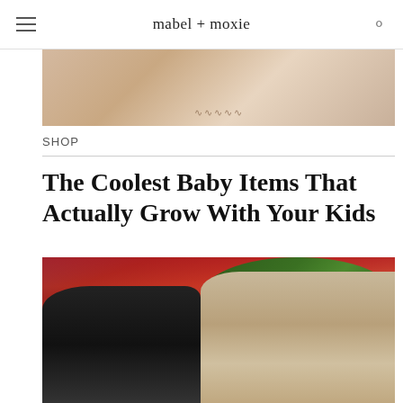mabel + moxie
[Figure (photo): Cropped photo of a baby or child in light-colored clothing on a white background, partially visible at top]
SHOP
The Coolest Baby Items That Actually Grow With Your Kids
[Figure (photo): Photo of a man wearing a green RHUDE cap with dreadlocks and a young girl looking upward at an NBA arena event]